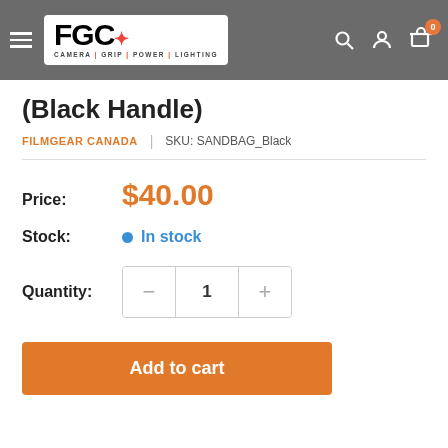[Figure (logo): FGC logo with text CAMERA | GRIP | POWER | LIGHTING on grey navigation header bar with hamburger menu, search, account, and cart icons]
(Black Handle)
FILMGEAR CANADA | SKU: SANDBAG_Black
Price: $40.00
Stock: In stock
Quantity: 1
Add to cart